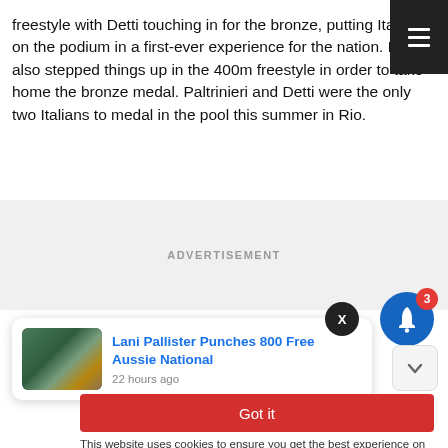freestyle with Detti touching in for the bronze, putting Italians on the podium in a first-ever experience for the nation. Detti also stepped things up in the 400m freestyle in order to take home the bronze medal. Paltrinieri and Detti were the only two Italians to medal in the pool this summer in Rio.
ADVERTISEMENT
[Figure (screenshot): Notification bell icon with blue circle and red badge showing number 3]
[Figure (screenshot): Black circular X close button]
[Figure (screenshot): News card with swimming thumbnail image, headline 'Lani Pallister Punches 800 Free Aussie National', timestamp '22 hours ago']
[Figure (screenshot): Red 'Got it' button for cookie consent]
This website uses cookies to ensure you get the best experience on our website.